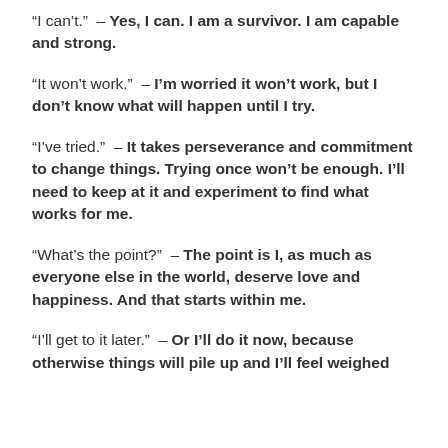“I can’t.” – Yes, I can. I am a survivor. I am capable and strong.
“It won’t work.” – I’m worried it won’t work, but I don’t know what will happen until I try.
“I’ve tried.” – It takes perseverance and commitment to change things. Trying once won’t be enough. I’ll need to keep at it and experiment to find what works for me.
“What’s the point?” – The point is I, as much as everyone else in the world, deserve love and happiness. And that starts within me.
“I’ll get to it later.” – Or I’ll do it now, because otherwise things will pile up and I’ll feel weighed